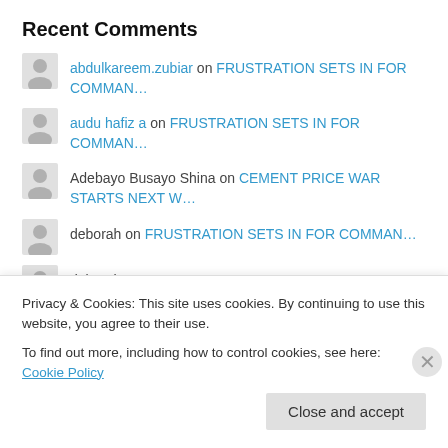Recent Comments
abdulkareem.zubiar on FRUSTRATION SETS IN FOR COMMAN…
audu hafiz a on FRUSTRATION SETS IN FOR COMMAN…
Adebayo Busayo Shina on CEMENT PRICE WAR STARTS NEXT W…
deborah on FRUSTRATION SETS IN FOR COMMAN…
deborah on FRUSTRATION SETS IN FOR COMMAN…
My Sac
Select Month
Privacy & Cookies: This site uses cookies. By continuing to use this website, you agree to their use.
To find out more, including how to control cookies, see here: Cookie Policy
Close and accept